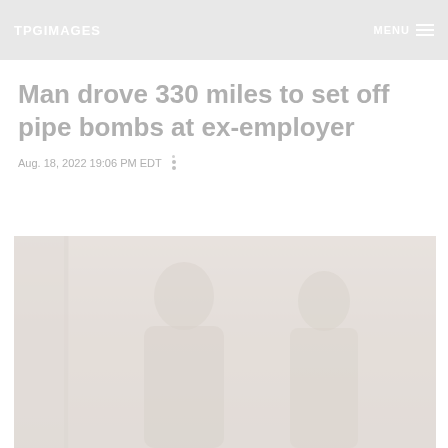TPGIMAGES  MENU
Man drove 330 miles to set off pipe bombs at ex-employer
Aug. 18, 2022 19:06 PM EDT
[Figure (photo): Two people partially visible, faded/light-toned photograph, appears to show people in formal attire]